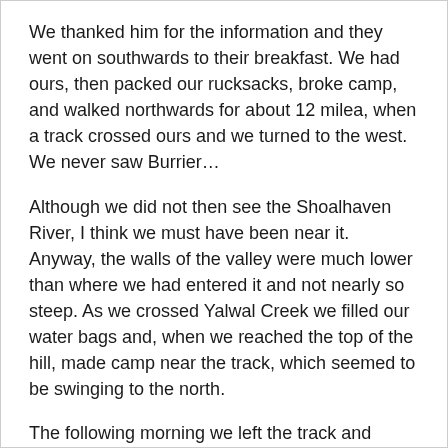We thanked him for the information and they went on southwards to their breakfast. We had ours, then packed our rucksacks, broke camp, and walked northwards for about 12 milea, when a track crossed ours and we turned to the west. We never saw Burrier…
Although we did not then see the Shoalhaven River, I think we must have been near it. Anyway, the walls of the valley were much lower than where we had entered it and not nearly so steep. As we crossed Yalwal Creek we filled our water bags and, when we reached the top of the hill, made camp near the track, which seemed to be swinging to the north.
The following morning we left the track and continued westwards over hilly country through low, scratchy scrub. Our next adventure was here when we came upon a wombat peacefully grazing and all stopped and stood looking at him. The wombat was scared and set off down the slope - between Tom Herbert's legs! Tom was as